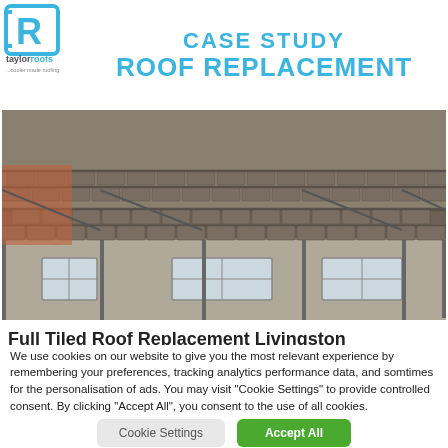[Figure (logo): Taylor Roofs company logo — square bracket R icon with 'taylorroofs' text and tagline '...cooler made roofing']
CASE STUDY
ROOF REPLACEMENT
[Figure (photo): Photograph of a house rooftop undergoing tile replacement with scaffolding erected along the front facade, showing new dark roof tiles and a brick/render wall with windows below]
Full Tiled Roof Replacement Livingston
We use cookies on our website to give you the most relevant experience by remembering your preferences, tracking analytics performance data, and somtimes for the personalisation of ads. You may visit "Cookie Settings" to provide controlled consent. By clicking "Accept All", you consent to the use of all cookies.
Cookie Settings  Accept All